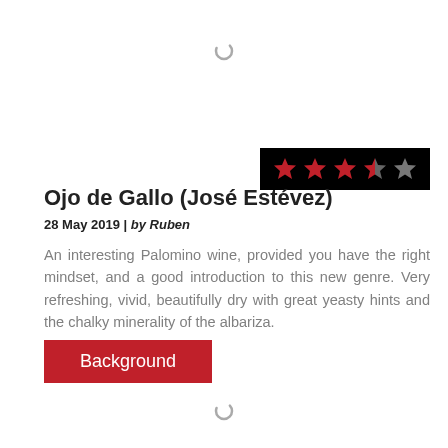[Figure (other): Spinner/loading indicator at top center]
[Figure (other): Star rating widget showing 3.5 out of 5 stars on black background — 3 red filled stars, 1 half-red/grey star, 1 grey star]
Ojo de Gallo (José Estévez)
28 May 2019 | by Ruben
An interesting Palomino wine, provided you have the right mindset, and a good introduction to this new genre. Very refreshing, vivid, beautifully dry with great yeasty hints and the chalky minerality of the albariza.
Background
[Figure (other): Spinner/loading indicator at bottom center]